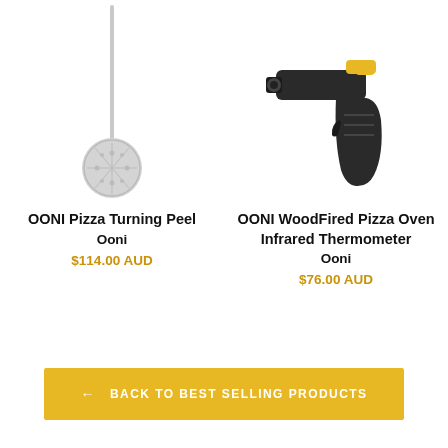[Figure (photo): Pizza turning peel - long handle with perforated round head, silver/aluminum color]
OONI Pizza Turning Peel
Ooni
$114.00 AUD
[Figure (photo): Infrared thermometer gun - black and yellow color, pointing left]
OONI WoodFired Pizza Oven Infrared Thermometer
Ooni
$76.00 AUD
← BACK TO BEST SELLING PRODUCTS